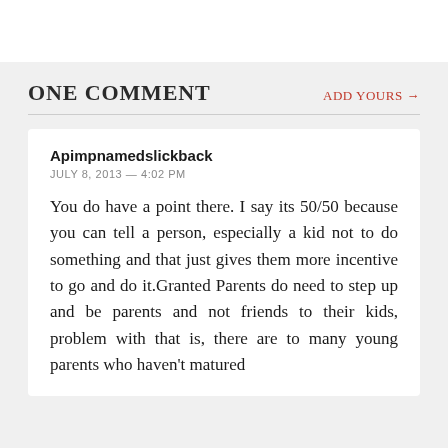ONE COMMENT
ADD YOURS →
Apimpnamedslickback
JULY 8, 2013 — 4:02 PM
You do have a point there. I say its 50/50 because you can tell a person, especially a kid not to do something and that just gives them more incentive to go and do it.Granted Parents do need to step up and be parents and not friends to their kids, problem with that is, there are to many young parents who haven't matured